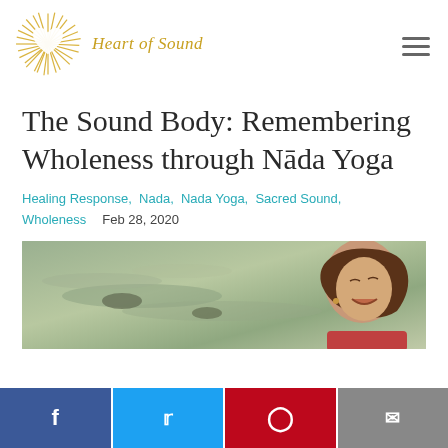Heart of Sound
The Sound Body: Remembering Wholeness through Nāda Yoga
Healing Response, Nada, Nada Yoga, Sacred Sound, Wholeness   Feb 28, 2020
[Figure (photo): Woman with eyes closed and mouth open, smiling or singing joyfully, with a river or water scene in the background]
Facebook, Twitter, Pinterest, Email share buttons